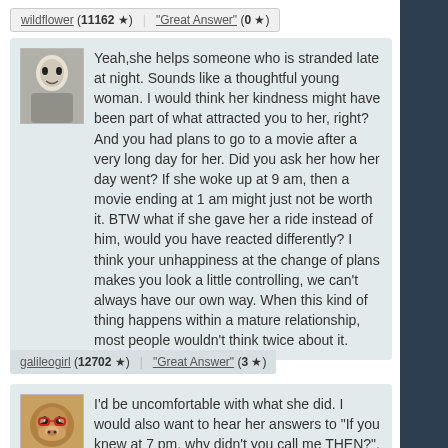wildflower (11162 ★)  "Great Answer" (0 ★)
Yeah,she helps someone who is stranded late at night. Sounds like a thoughtful young woman. I would think her kindness might have been part of what attracted you to her, right? And you had plans to go to a movie after a very long day for her. Did you ask her how her day went? If she woke up at 9 am, then a movie ending at 1 am might just not be worth it. BTW what if she gave her a ride instead of him, would you have reacted differently? I think your unhappiness at the change of plans makes you look a little controlling, we can't always have our own way. When this kind of thing happens within a mature relationship, most people wouldn't think twice about it.
galileogirl (12702 ★)  "Great Answer" (3 ★)
I'd be uncomfortable with what she did. I would also want to hear her answers to "If you knew at 7 pm, why didn't you call me THEN?", and "Why couldn't he call a